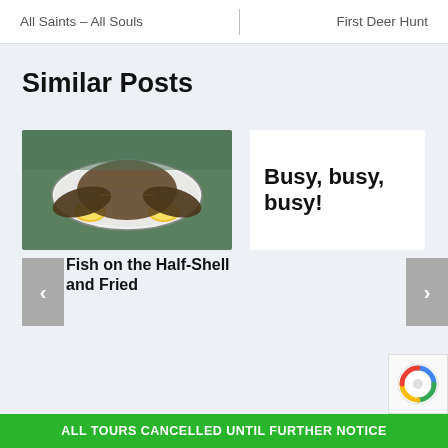All Saints – All Souls | First Deer Hunt
Similar Posts
[Figure (photo): Cooked fish (flounder) on a plate with lemon slices, on a decorative surface]
Fish on the Half-Shell and Fried
Busy, busy, busy!
ALL TOURS CANCELLED UNTIL FURTHER NOTICE